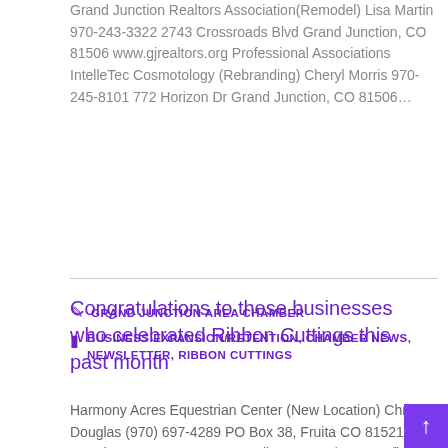Grand Junction Realtors Association(Remodel) Lisa Martin 970-243-3322 2743 Crossroads Blvd Grand Junction, CO 81506 www.gjrealtors.org Professional Associations    IntelleTec Cosmotology (Rebranding) Cheryl Morris 970-245-8101 772 Horizon Dr Grand Junction, CO 81506…
GRAND JUNCTION AREA CHAMBER
BUSINESS EXPANSION/RETENTION, CHAMBER NEWS, NEWSLETTER, RIBBON CUTTINGS
Congratulations to these businesses who celebrated Ribbon Cuttings this past month
Harmony Acres Equestrian Center (New Location) Christy Douglas (970) 697-4289 PO Box 38, Fruita CO 81521 www.harmonyacresec.org Family Support / Non Profit    Retreat Communities & Vineyard  Memory Care (Expansion) Linda Witham (970) 243-7224 2835…